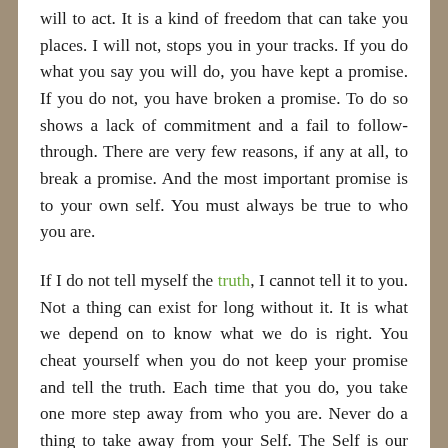will to act. It is a kind of freedom that can take you places. I will not, stops you in your tracks. If you do what you say you will do, you have kept a promise. If you do not, you have broken a promise. To do so shows a lack of commitment and a fail to follow-through. There are very few reasons, if any at all, to break a promise. And the most important promise is to your own self. You must always be true to who you are.
If I do not tell myself the truth, I cannot tell it to you. Not a thing can exist for long without it. It is what we depend on to know what we do is right. You cheat yourself when you do not keep your promise and tell the truth. Each time that you do, you take one more step away from who you are. Never do a thing to take away from your Self. The Self is our core, the essence of each one of us. It is where we go to what; be ourselves. A place we would never leave on our own, but our mind will. Our power and strength comes from